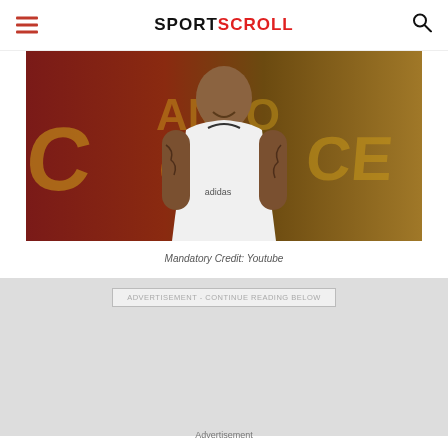SPORTSCROLL
[Figure (photo): Basketball player in white Adidas jersey with tattoos on arms, standing in front of a maroon and gold team backdrop with partial text visible]
Mandatory Credit: Youtube
ADVERTISEMENT - CONTINUE READING BELOW
Advertisement